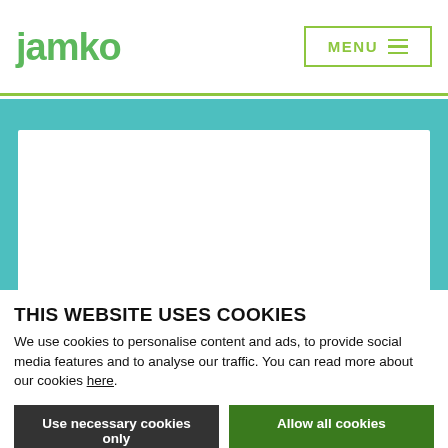jamko | MENU
[Figure (screenshot): Teal/turquoise banner section with a white content area overlaid on top]
THIS WEBSITE USES COOKIES
We use cookies to personalise content and ads, to provide social media features and to analyse our traffic. You can read more about our cookies here.
Use necessary cookies only | Allow all cookies